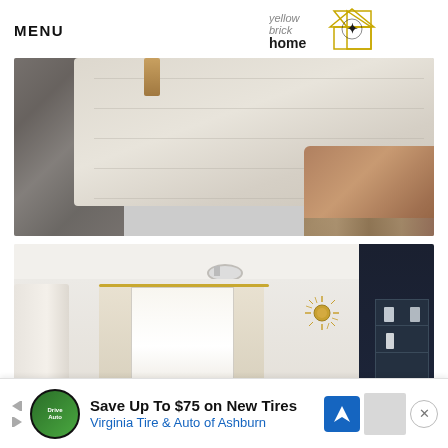MENU | Yellow Brick Home logo
[Figure (photo): Close-up of a cream/beige upholstered bench or mattress corner on a grey textured rug, with a brown velvet pillow visible at bottom right and wooden furniture leg at top.]
[Figure (photo): Bright living room interior with white walls, ceiling fan, white curtains on gold rod over a window, a sunburst wall clock, a large white lamp, and a dark navy shelf unit on the far right wall.]
Save Up To $75 on New Tires
Virginia Tire & Auto of Ashburn